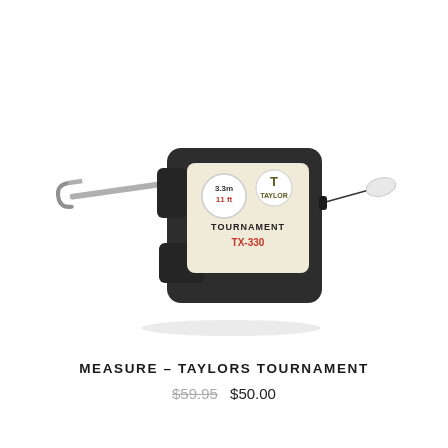[Figure (photo): Taylor Tournament TX-330 fish measure / tape measure device. Dark grey/black compact square body with a retractable metal measuring arm extending to the left with a J-hook end, and a white oval end-piece on a thin cord to the right. The label on the front reads '3.3m / 11ft', shows the Taylor logo, and says 'TOURNAMENT TX-330' with TX-330 in red/orange.]
MEASURE – TAYLORS TOURNAMENT
$59.95  $50.00